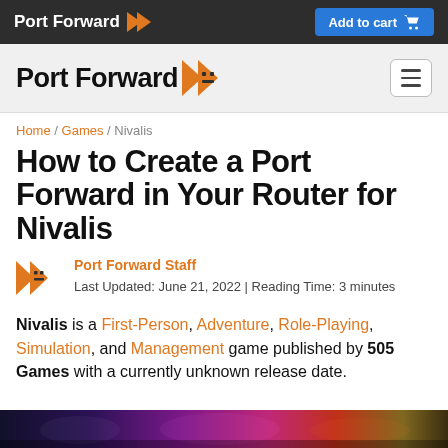Port Forward | Add to cart
Port Forward
Home / Games / Nivalis
How to Create a Port Forward in Your Router for Nivalis
Port Forward Staff
Last Updated: June 21, 2022 | Reading Time: 3 minutes
Nivalis is a First-Person, Adventure, Role-Playing, Simulation, and Management game published by 505 Games with a currently unknown release date.
[Figure (photo): Bottom strip showing a dark colorful game scene screenshot]